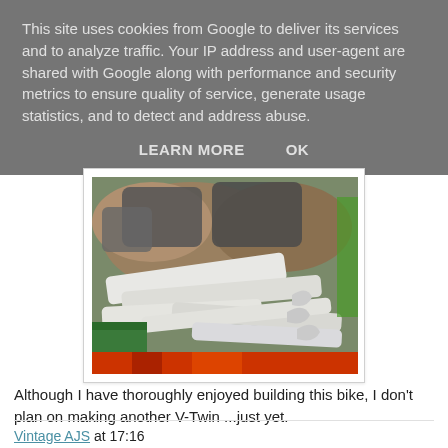This site uses cookies from Google to deliver its services and to analyze traffic. Your IP address and user-agent are shared with Google along with performance and security metrics to ensure quality of service, generate usage statistics, and to detect and address abuse.
LEARN MORE    OK
[Figure (photo): A cardboard box filled with white plastic injection-molded parts and brown paper packing material, with a green box visible in the lower left and red/orange material at the bottom.]
Although I have thoroughly enjoyed building this bike, I don't plan on making another V-Twin ...just yet.
Vintage AJS at 17:16